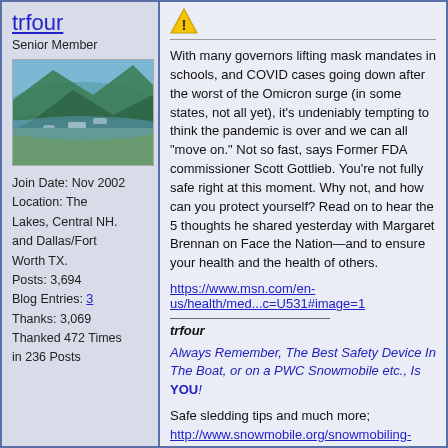trfour
Senior Member
[Figure (photo): Aerial or lakeside photo showing water with boats and trees]
Join Date: Nov 2002
Location: The Lakes, Central NH. and Dallas/Fort Worth TX.
Posts: 3,694
Blog Entries: 3
Thanks: 3,069
Thanked 472 Times in 236 Posts
[Figure (other): Warning triangle icon (yellow with exclamation mark)]
With many governors lifting mask mandates in schools, and COVID cases going down after the worst of the Omicron surge (in some states, not all yet), it's undeniably tempting to think the pandemic is over and we can all "move on." Not so fast, says Former FDA commissioner Scott Gottlieb. You're not fully safe right at this moment. Why not, and how can you protect yourself? Read on to hear the 5 thoughts he shared yesterday with Margaret Brennan on Face the Nation—and to ensure your health and the health of others.
https://www.msn.com/en-us/health/med...c=U531#image=1
trfour
Always Remember, The Best Safety Device In The Boat, or on a PWC Snowmobile etc., Is YOU!
Safe sledding tips and much more:
http://www.snowmobile.org/snowmobiling-safety.html